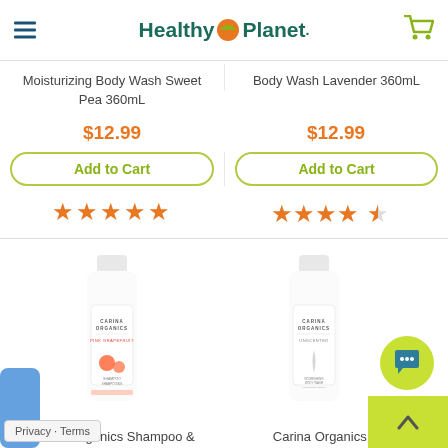Healthy Planet
Moisturizing Body Wash Sweet Pea 360mL
$12.99
Add to Cart
[Figure (other): 5-star rating (orange stars)]
Body Wash Lavender 360mL
$12.99
Add to Cart
[Figure (other): 4.5-star rating (orange stars)]
[Figure (photo): Carina Organics Pink Grapefruit shampoo bottle]
[Figure (photo): Carina Organics Unscented body wash bottle]
Carina Organics Shampoo &
Carina Organics Daily
Privacy · Terms